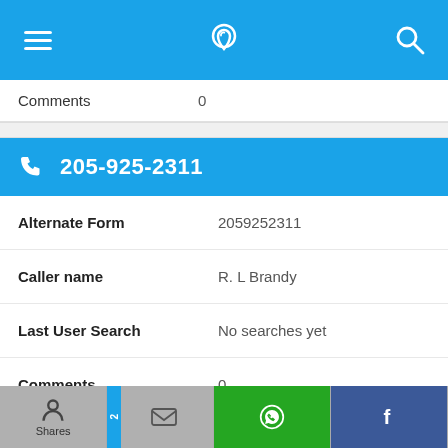[Figure (screenshot): Mobile app navigation bar with hamburger menu icon, phone/location pin icon, and search icon on blue background]
Comments	0
205-925-2311
| Field | Value |
| --- | --- |
| Alternate Form | 2059252311 |
| Caller name | R. L Brandy |
| Last User Search | No searches yet |
| Comments | 0 |
[Figure (screenshot): Share footer with Shares (gray), mail (gray), WhatsApp (green), Facebook (blue) buttons]